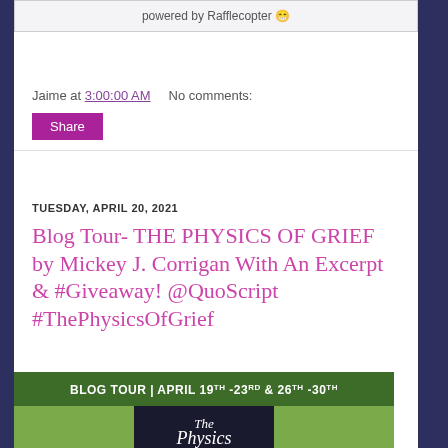powered by Rafflecopter 🎉
Jaime at 3:00:00 AM    No comments:
Share
TUESDAY, APRIL 20, 2021
Blog Tour- THE PHYSICS OF GRIEF by Mickey J. Corrigan With An Excerpt & #Giveaway! @QuoScript #ThePhysicsOfGrief
[Figure (photo): Blog Tour banner image with green background showing text: BLOG TOUR | APRIL 19th-23rd & 26th-30th, and book cover for The Physics of Grief with title text visible]